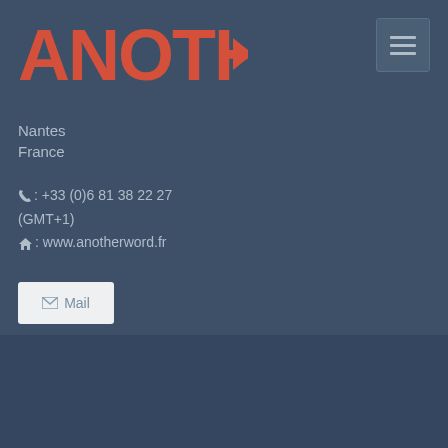[Figure (logo): ANOTHERWORD logo in red/salmon color with arrow pointing right]
Nantes
France
☎: +33 (0)6 81 38 22 27 (GMT+1)
🏠: www.anotherword.fr
✉ Mail
Copyright © 2021 Nicolas Gouyette. All rights reserved.
Contact ▲